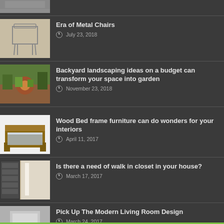[Figure (photo): Partial thumbnail of article at top (cropped)]
Era of Metal Chairs — July 23, 2018
[Figure (photo): Metal chair product photo]
Backyard landscaping ideas on a budget can transform your space into garden — November 23, 2018
[Figure (photo): Backyard garden with fire pit]
Wood Bed frame furniture can do wonders for your interiors — April 11, 2017
[Figure (photo): Wooden bed frame furniture]
Is there a need of walk in closet in your house? — March 17, 2017
[Figure (photo): Walk in closet interior]
Pick Up The Modern Living Room Design — March 24, 2017
[Figure (photo): Modern living room design]